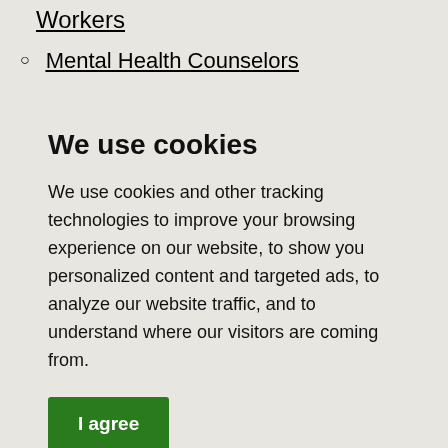Workers
Mental Health Counselors
We use cookies
We use cookies and other tracking technologies to improve your browsing experience on our website, to show you personalized content and targeted ads, to analyze our website traffic, and to understand where our visitors are coming from.
I agree
Change my preferences